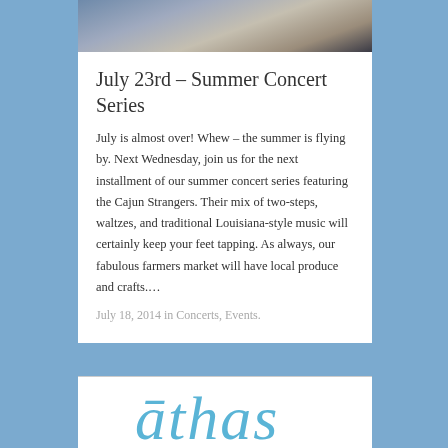[Figure (photo): Band photo showing musicians in casual attire, partially cropped at top of page]
July 23rd – Summer Concert Series
July is almost over! Whew – the summer is flying by. Next Wednesday, join us for the next installment of our summer concert series featuring the Cajun Strangers. Their mix of two-steps, waltzes, and traditional Louisiana-style music will certainly keep your feet tapping. As always, our fabulous farmers market will have local produce and crafts.…
July 18, 2014 in Concerts, Events.
[Figure (logo): Handwritten-style cursive logo reading 'āthas' in light blue/teal color]